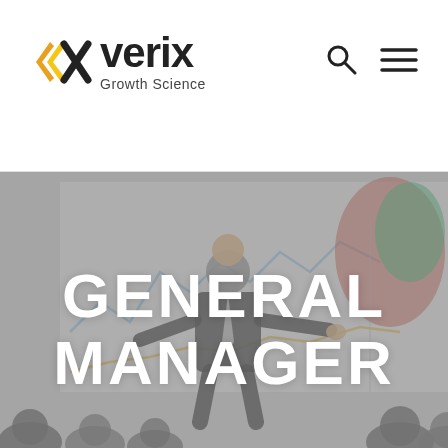[Figure (logo): Xverix Growth Science logo with chevron/arrow icon in orange and yellow on the left, company name 'xverix' in dark text, and tagline 'Growth Science' below]
[Figure (other): Search icon (magnifying glass) and hamburger menu icon (three horizontal lines) in dark color, top right of header]
[Figure (photo): Hero background image showing a man in a business suit presenting in front of a whiteboard with line charts and a map. Audience silhouettes visible at bottom. Image has a grey overlay. Large white bold text reads 'GENERAL MANAGER' overlaid on the image.]
GENERAL MANAGER